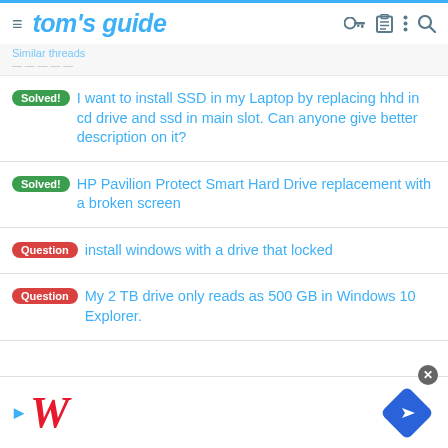tom's guide
Similar threads
Solved! I want to install SSD in my Laptop by replacing hhd in cd drive and ssd in main slot. Can anyone give better description on it?
Solved! HP Pavilion Protect Smart Hard Drive replacement with a broken screen
Question install windows with a drive that locked
Question My 2 TB drive only reads as 500 GB in Windows 10 Explorer.
[Figure (logo): Walgreens advertisement with play button, W script logo, and blue navigation diamond arrow icon]